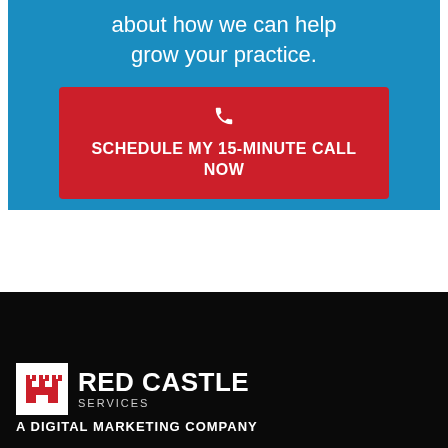about how we can help grow your practice.
SCHEDULE MY 15-MINUTE CALL NOW
[Figure (logo): Red Castle Services logo - white box with red castle icon, 'RED CASTLE' in large white bold text, 'SERVICES' in smaller gray text below, 'A DIGITAL MARKETING COMPANY' in white bold text underneath]
A DIGITAL MARKETING COMPANY